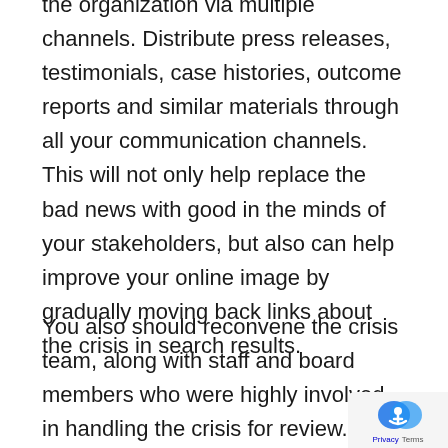the organization via multiple channels. Distribute press releases, testimonials, case histories, outcome reports and similar materials through all your communication channels. This will not only help replace the bad news with good in the minds of your stakeholders, but also can help improve your online image by gradually moving back links about the crisis in search results.
You also should reconvene the crisis team, along with staff and board members who were highly involved in handling the crisis for review. What went well and what went poorly? What lessons have you learned that the organization can apply going forward to preempt crises and respond faster and more effectively? Along with this,